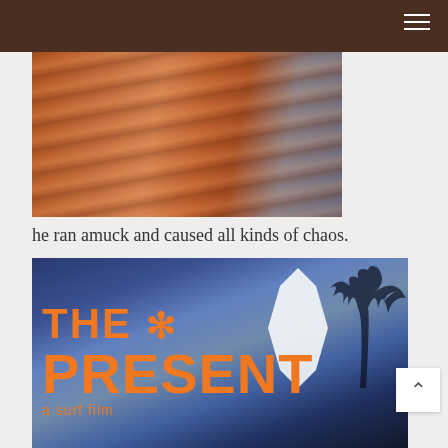[Figure (photo): Close-up photo of colorful surfboards stacked together, warm orange and pink tones with blue fin visible]
he ran amuck and caused all kinds of chaos.
[Figure (photo): Photo of a surf shop window or sign displaying 'THE * PRESENT a surf film' in large orange letters, with palm trees and a white surfboard reflected in blue sky background]